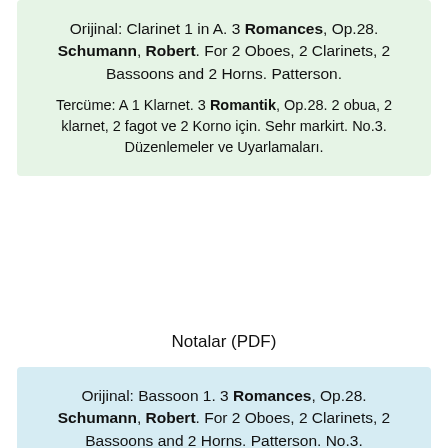Orijinal: Clarinet 1 in A. 3 Romances, Op.28. Schumann, Robert. For 2 Oboes, 2 Clarinets, 2 Bassoons and 2 Horns. Patterson.
Tercüme: A 1 Klarnet. 3 Romantik, Op.28. 2 obua, 2 klarnet, 2 fagot ve 2 Korno için. Sehr markirt. No.3. Düzenlemeler ve Uyarlamaları.
Notalar (PDF)
Orijinal: Bassoon 1. 3 Romances, Op.28. Schumann, Robert. For 2 Oboes, 2 Clarinets, 2 Bassoons and 2 Horns. Patterson. No.3.
Tercüme: Fagot 1. 3 Romantik, Op.28. 2